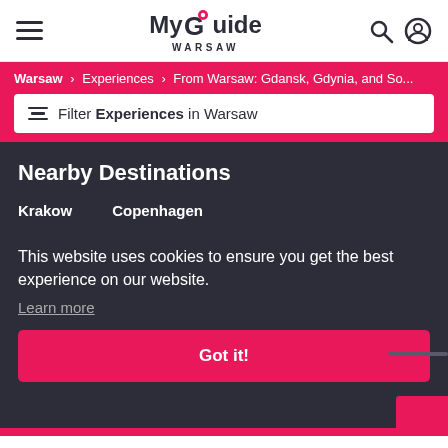My Guide Warsaw
Warsaw > Experiences > From Warsaw: Gdansk, Gdynia, and So...
Filter Experiences in Warsaw
Nearby Destinations
Krakow
Copenhagen
This website uses cookies to ensure you get the best experience on our website.
Learn more
Got it!